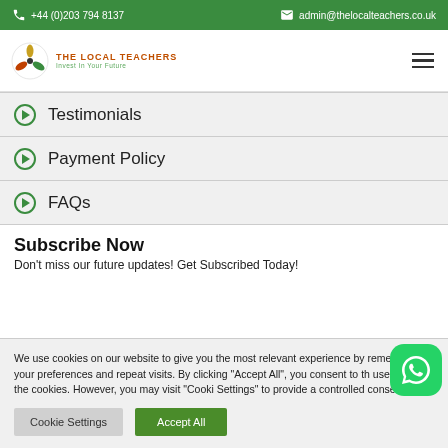+44 (0)203 794 8137 | admin@thelocalteachers.co.uk
[Figure (logo): The Local Teachers logo with spinner icon and tagline 'Invest In Your Future']
Testimonials
Payment Policy
FAQs
Subscribe Now
Don't miss our future updates! Get Subscribed Today!
We use cookies on our website to give you the most relevant experience by remembering your preferences and repeat visits. By clicking "Accept All", you consent to the use of ALL the cookies. However, you may visit "Cookie Settings" to provide a controlled consent.